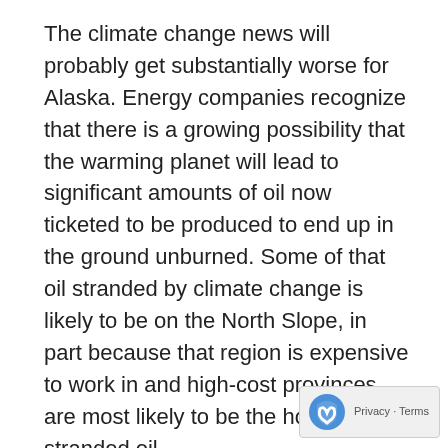The climate change news will probably get substantially worse for Alaska. Energy companies recognize that there is a growing possibility that the warming planet will lead to significant amounts of oil now ticketed to be produced to end up in the ground unburned. Some of that oil stranded by climate change is likely to be on the North Slope, in part because that region is expensive to work in and high-cost provinces are most likely to be the home of stranded oil.
Over the next year—and over the next 10 years or so—the downside risks for Alaska on the fiscal front appear to exceed the upside potential. Alaskans should prepare accordingly.
Cliff Groh is an Anchorage lawyer and writer as well as the legislative assistant who worked the most on the bill in 1982 that created the Permanent Fund Dividend we